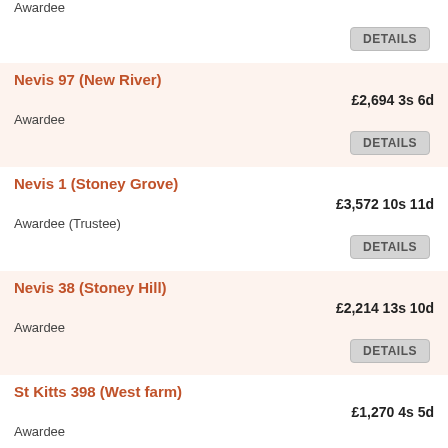Awardee
DETAILS
Nevis 97 (New River)
£2,694 3s 6d
Awardee
DETAILS
Nevis 1 (Stoney Grove)
£3,572 10s 11d
Awardee (Trustee)
DETAILS
Nevis 38 (Stoney Hill)
£2,214 13s 10d
Awardee
DETAILS
St Kitts 398 (West farm)
£1,270 4s 5d
Awardee